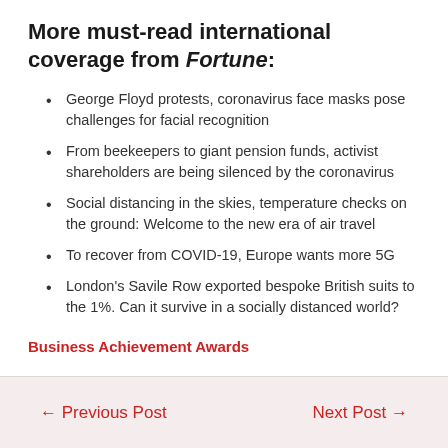More must-read international coverage from Fortune:
George Floyd protests, coronavirus face masks pose challenges for facial recognition
From beekeepers to giant pension funds, activist shareholders are being silenced by the coronavirus
Social distancing in the skies, temperature checks on the ground: Welcome to the new era of air travel
To recover from COVID-19, Europe wants more 5G
London's Savile Row exported bespoke British suits to the 1%. Can it survive in a socially distanced world?
Business Achievement Awards
← Previous Post    Next Post →